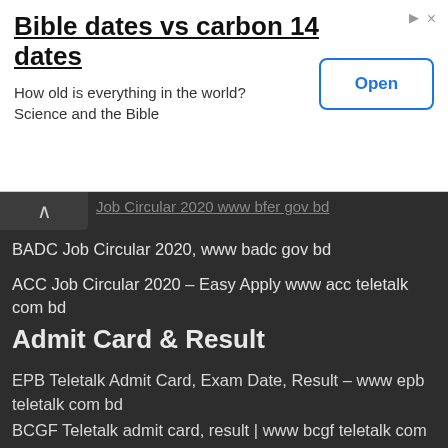[Figure (screenshot): Advertisement banner with title 'Bible dates vs carbon 14 dates', subtitle 'How old is everything in the world? Science and the Bible', and an 'Open' button]
Job Circular 2020 www bfer gov bd
BADC Job Circular 2020, www badc gov bd
ACC Job Circular 2020 – Easy Apply www acc teletalk com bd
Admit Card & Result
EPB Teletalk Admit Card, Exam Date, Result – www epb teletalk com bd
BCGF Teletalk admit card, result | www bcgf teletalk com bd
MPL Teletalk Admit Card, Result 2020 – www mpl teletalk com bd
MORA Teletalk Admit Card, Result Download